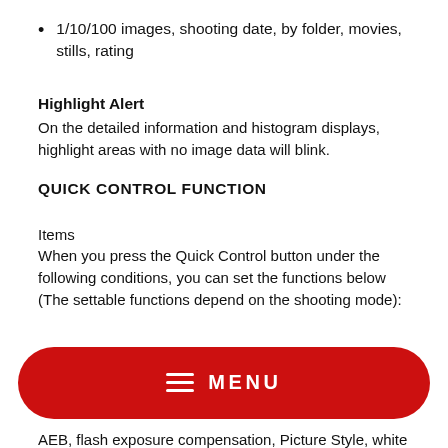1/10/100 images, shooting date, by folder, movies, stills, rating
Highlight Alert
On the detailed information and histogram displays, highlight areas with no image data will blink.
QUICK CONTROL FUNCTION
Items
When you press the Quick Control button under the following conditions, you can set the functions below (The settable functions depend on the shooting mode):
[Figure (other): Red rounded rectangle button with hamburger menu icon and text MENU in white]
AEB, flash exposure compensation, Picture Style, white